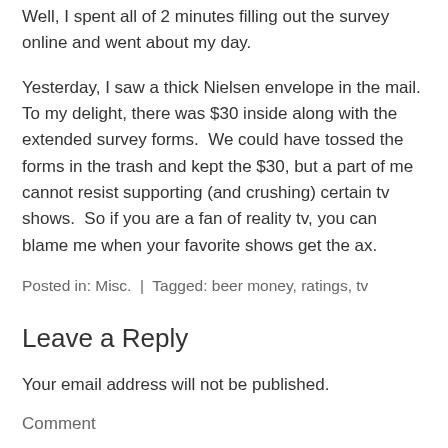Well, I spent all of 2 minutes filling out the survey online and went about my day.
Yesterday, I saw a thick Nielsen envelope in the mail.  To my delight, there was $30 inside along with the extended survey forms.  We could have tossed the forms in the trash and kept the $30, but a part of me cannot resist supporting (and crushing) certain tv shows.  So if you are a fan of reality tv, you can blame me when your favorite shows get the ax.
Posted in: Misc. | Tagged: beer money, ratings, tv
Leave a Reply
Your email address will not be published.
Comment